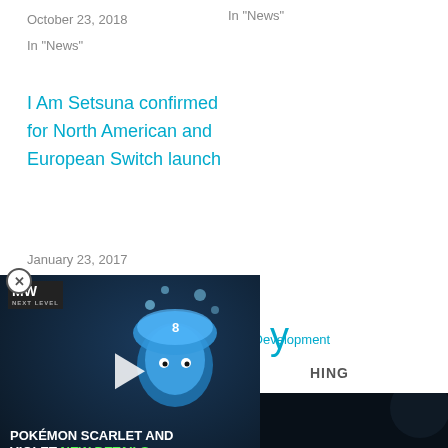October 23, 2018
In "News"
In "News"
I Am Setsuna confirmed for North American and European Switch launch
January 23, 2017
In "News"
More: Cattails: Wildwood Story, Falcon Development
[Figure (screenshot): Video ad overlay for MW Next Level featuring Pokemon Scarlet and Violet with play button and text 'POKEMON SCARLET AND VIOLET NEW DETAILS']
[Figure (photo): Dark thumbnail image on bottom left]
[Figure (photo): Dark thumbnail image on bottom right]